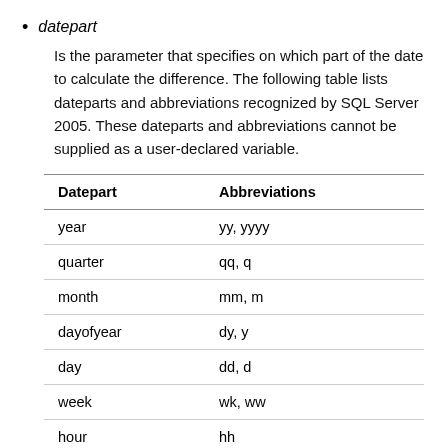datepart
Is the parameter that specifies on which part of the date to calculate the difference. The following table lists dateparts and abbreviations recognized by SQL Server 2005. These dateparts and abbreviations cannot be supplied as a user-declared variable.
| Datepart | Abbreviations |
| --- | --- |
| year | yy, yyyy |
| quarter | qq, q |
| month | mm, m |
| dayofyear | dy, y |
| day | dd, d |
| week | wk, ww |
| hour | hh |